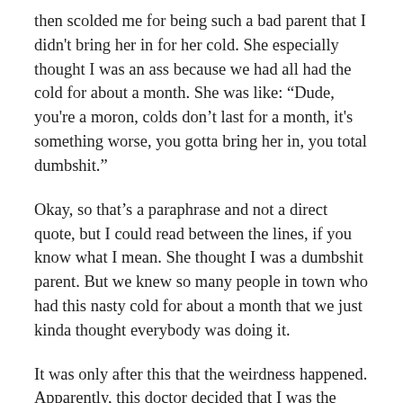then scolded me for being such a bad parent that I didn't bring her in for her cold. She especially thought I was an ass because we had all had the cold for about a month. She was like: “Dude, you're a moron, colds don’t last for a month, it's something worse, you gotta bring her in, you total dumbshit.”
Okay, so that’s a paraphrase and not a direct quote, but I could read between the lines, if you know what I mean. She thought I was a dumbshit parent. But we knew so many people in town who had this nasty cold for about a month that we just kinda thought everybody was doing it.
It was only after this that the weirdness happened. Apparently, this doctor decided that I was the kind of parent who would ignore all signs of illness in my children, so she had to whip out the scare tactics. (This was very